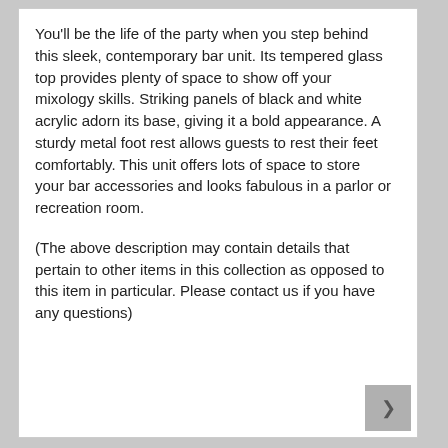You'll be the life of the party when you step behind this sleek, contemporary bar unit. Its tempered glass top provides plenty of space to show off your mixology skills. Striking panels of black and white acrylic adorn its base, giving it a bold appearance. A sturdy metal foot rest allows guests to rest their feet comfortably. This unit offers lots of space to store your bar accessories and looks fabulous in a parlor or recreation room.
(The above description may contain details that pertain to other items in this collection as opposed to this item in particular. Please contact us if you have any questions)